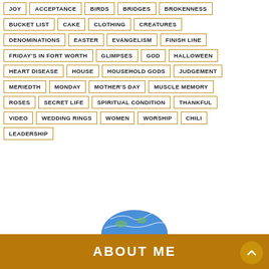JOY
ACCEPTANCE
BIRDS
BRIDGES
BROKENNESS
BUCKET LIST
CAKE
CLOTHING
CREATURES
DENOMINATIONS
EASTER
EVANGELISM
FINISH LINE
FRIDAY'S IN FORT WORTH
GLIMPSES
GOD
HALLOWEEN
HEART DISEASE
HOUSE
HOUSEHOLD GODS
JUDGEMENT
MERIEDTH
MONDAY
MOTHER'S DAY
MUSCLE MEMORY
ROSES
SECRET LIFE
SPIRITUAL CONDITION
THANKFUL
VIDEO
WEDDING RINGS
WOMEN
WORSHIP
CHILI
LEADERSHIP
ABOUT ME
[Figure (illustration): Globe/earth illustration partially visible at bottom of page]